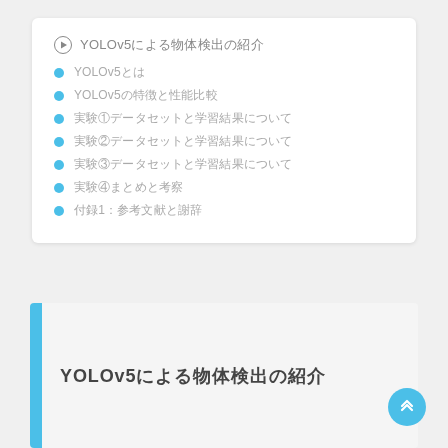YOLOv5による物体検出の紹介
YOLOv5とは
YOLOv5の特徴と性能比較
実験①データセットと学習結果について
実験②データセットと学習結果について
実験③データセットと学習結果について
実験④まとめと考察
付録1：参考文献と謝辞
YOLOv5による物体検出の紹介